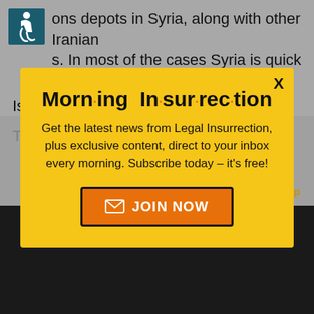ons depots in Syria, along with other Iranian s. In most of the cases Syria is quick to blame Israel, and Israel is silent.
[Figure (screenshot): Modal popup advertisement for Morning Insurrection newsletter with yellow background, close X button, bold stylized title 'Morn·ing In·sur·rec·tion', descriptive text about getting latest news from Legal Insurrection, and orange JOIN NOW button with envelope icon]
Morn·ing In·sur·rec·tion
Get the latest news from Legal Insurrection, plus exclusive content, direct to your inbox every morning. Subscribe today – it's free!
JOIN NOW